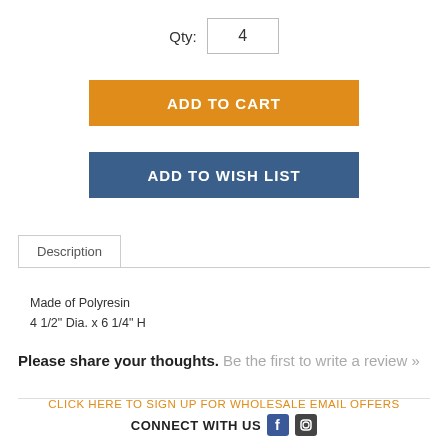Qty: 4
ADD TO CART
ADD TO WISH LIST
Description
Made of Polyresin
4 1/2" Dia. x 6 1/4" H
Please share your thoughts. Be the first to write a review »
CLICK HERE TO SIGN UP FOR WHOLESALE EMAIL OFFERS
CONNECT WITH US